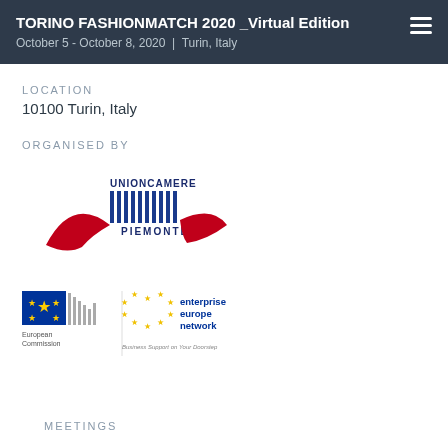TORINO FASHIONMATCH 2020 _Virtual Edition
October 5 - October 8, 2020 | Turin, Italy
LOCATION
10100 Turin, Italy
ORGANISED BY
[Figure (logo): Unioncamere Piemonte logo with red swoosh and blue barcode-style graphic]
[Figure (logo): European Commission logo and Enterprise Europe Network logo with tagline 'Business Support on Your Doorstep']
MEETINGS